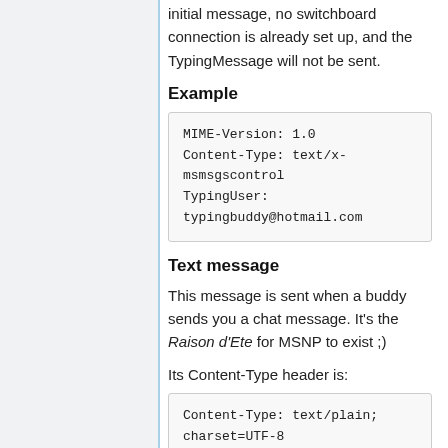initial message, no switchboard connection is already set up, and the TypingMessage will not be sent.
Example
[Figure (screenshot): Code block showing MIME message headers: MIME-Version: 1.0 Content-Type: text/x-msmsgscontrol TypingUser: typingbuddy@hotmail.com]
Text message
This message is sent when a buddy sends you a chat message. It's the Raison d'Etre for MSNP to exist ;)
Its Content-Type header is:
[Figure (screenshot): Code block showing: Content-Type: text/plain; charset=UTF-8]